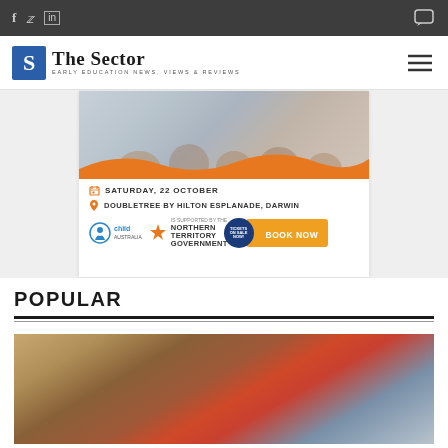The Sector — Early Education News, Views & Reviews
[Figure (screenshot): Advertisement banner for Child Australia event: Saturday, 22 October at Doubletree by Hilton Esplanade, Darwin. Logos: child australia, Northern Territory Government, Book Now button.]
POPULAR
[Figure (photo): Children playing in sand, a child in red shirt visible.]